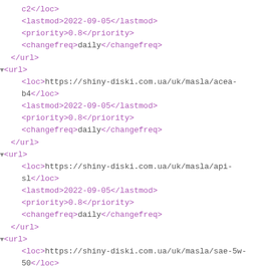XML sitemap code snippet showing URL entries with loc, lastmod, priority, and changefreq tags for shiny-diski.com.ua
c2</loc>
<lastmod>2022-09-05</lastmod>
<priority>0.8</priority>
<changefreq>daily</changefreq>
</url>
▼<url>
<loc>https://shiny-diski.com.ua/uk/masla/acea-b4</loc>
<lastmod>2022-09-05</lastmod>
<priority>0.8</priority>
<changefreq>daily</changefreq>
</url>
▼<url>
<loc>https://shiny-diski.com.ua/uk/masla/api-sl</loc>
<lastmod>2022-09-05</lastmod>
<priority>0.8</priority>
<changefreq>daily</changefreq>
</url>
▼<url>
<loc>https://shiny-diski.com.ua/uk/masla/sae-5w-50</loc>
<lastmod>2022-09-05</lastmod>
<priority>0.8</priority>
<changefreq>daily</changefreq>
</url>
▼<url>
<loc>https://shiny-diski.com.ua/uk/masla/mobil/sae-5w-50</loc>
<lastmod>2022-09-05</lastmod>